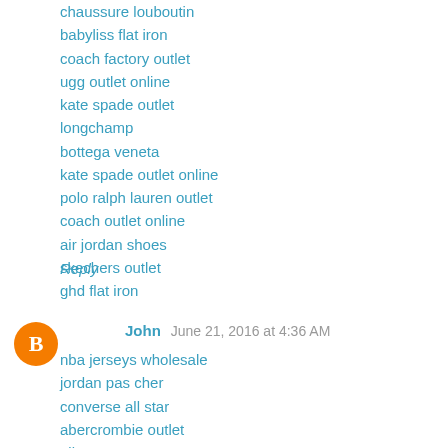chaussure louboutin
babyliss flat iron
coach factory outlet
ugg outlet online
kate spade outlet
longchamp
bottega veneta
kate spade outlet online
polo ralph lauren outlet
coach outlet online
air jordan shoes
skechers outlet
ghd flat iron
Reply
John  June 21, 2016 at 4:36 AM
nba jerseys wholesale
jordan pas cher
converse all star
abercrombie outlet
nike cortez